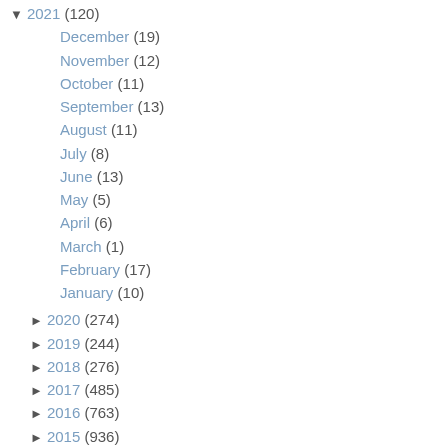▼ 2021 (120)
December (19)
November (12)
October (11)
September (13)
August (11)
July (8)
June (13)
May (5)
April (6)
March (1)
February (17)
January (10)
► 2020 (274)
► 2019 (244)
► 2018 (276)
► 2017 (485)
► 2016 (763)
► 2015 (936)
► 2014 (1068)